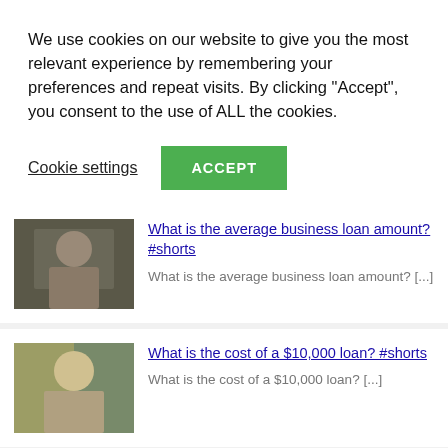We use cookies on our website to give you the most relevant experience by remembering your preferences and repeat visits. By clicking "Accept", you consent to the use of ALL the cookies.
Cookie settings   ACCEPT
What is the average business loan amount? #shorts
What is the average business loan amount? [...]
What is the cost of a $10,000 loan? #shorts
What is the cost of a $10,000 loan? [...]
What is the easiest loan to get approved fo #shorts
What is the easiest loan to get approved for? [...]